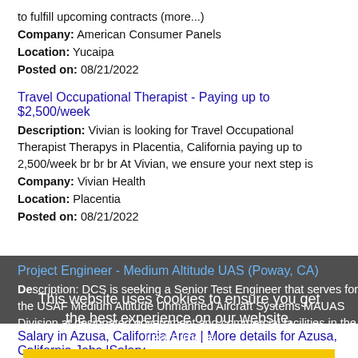to fulfill upcoming contracts (more...)
Company: American Consumer Panels
Location: Yucaipa
Posted on: 08/21/2022
Travel Occupational Therapist - Paying up to $2,500/week
Description: Vivian is looking for Travel Occupational Therapist Therapys in Placentia, California paying up to 2,500/week br br br At Vivian, we ensure your next step is
Company: Vivian Health
Location: Placentia
Posted on: 08/21/2022
Project Engineer - Medium Altitude UAS (Poway, CA)
Description: DCS is seeking a Senior Test Engineer that serves for the USAF Medium Altitude Unmanned Aircraft Systems MAUAS Division at designated government and commercial facilities in the Poway, (more...)
Company: DCS Corporation
Location: Poway
Posted on: 08/21/2022
This website uses cookies to ensure you get the best experience on our website.
Learn more
Got it!
Salary in Azusa, California Area | More details for Azusa, California Jobs |Salary